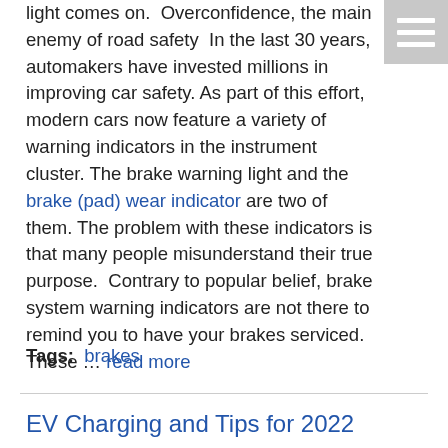light comes on.  Overconfidence, the main enemy of road safety  In the last 30 years, automakers have invested millions in improving car safety. As part of this effort, modern cars now feature a variety of warning indicators in the instrument cluster. The brake warning light and the brake (pad) wear indicator are two of them. The problem with these indicators is that many people misunderstand their true purpose.  Contrary to popular belief, brake system warning indicators are not there to remind you to have your brakes serviced. These … read more
Tags: brakes
EV Charging and Tips for 2022